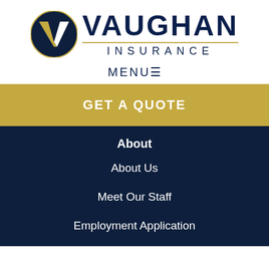[Figure (logo): Vaughan Insurance logo: dark navy circle with white and gold V chevron mark, next to bold navy VAUGHAN text with gold underline and INSURANCE in spaced letters below]
MENU ≡
GET A QUOTE
About
About Us
Meet Our Staff
Employment Application